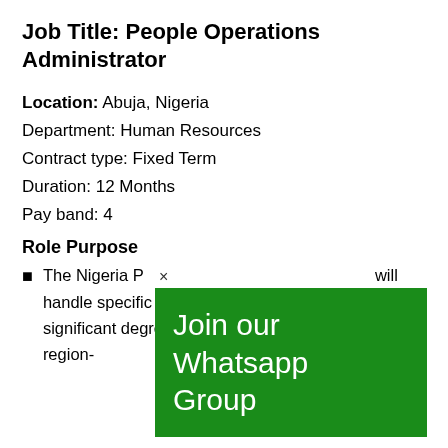Job Title: People Operations Administrator
Location: Abuja, Nigeria
Department: Human Resources
Contract type: Fixed Term
Duration: 12 Months
Pay band: 4
Role Purpose
[Figure (screenshot): Green popup overlay showing '× Join our Whatsapp Group' over the document content]
The Nigeria P[...] will handle specific transactional work that requires a significant degree of expertise and country and/or region-